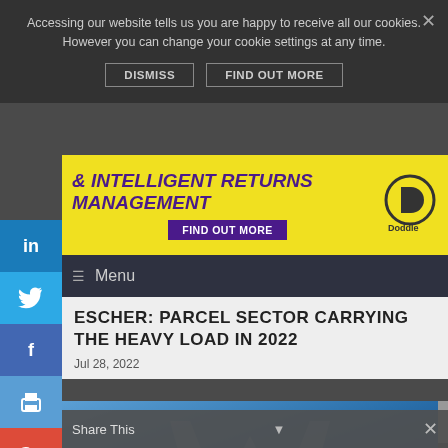Accessing our website tells us you are happy to receive all our cookies. However you can change your cookie settings at any time.
DISMISS    FIND OUT MORE
[Figure (screenshot): Yellow advertisement banner reading '& INTELLIGENT RETURNS MANAGEMENT' with 'FIND OUT MORE' button and Doddle logo]
Menu
ESCHER: PARCEL SECTOR CARRYING THE HEAVY LOAD IN 2022
Jul 28, 2022
[Figure (photo): World Mail & Express blue gradient header image with watermark logo]
Share This